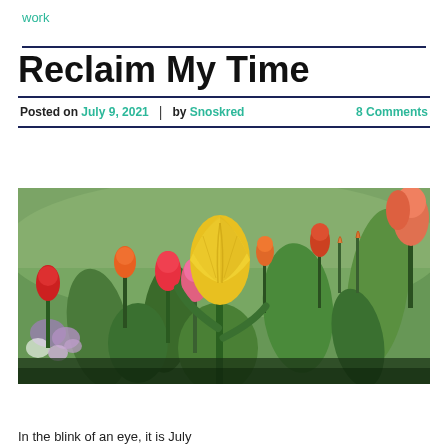work
Reclaim My Time
Posted on July 9, 2021 | by Snoskred   8 Comments
[Figure (photo): A garden full of tulips in bloom — a prominent yellow tulip in the foreground center, red and orange tulips in the background, and purple/white flowers on the left side, with green leaves throughout.]
In the blink of an eye, it is July